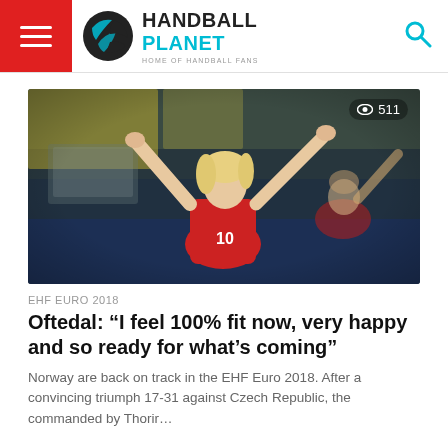HANDBALL PLANET - HOME OF HANDBALL FANS
[Figure (photo): Female handball player in red jersey number 10 celebrating with arms raised, crowd and goal in background. Another player also celebrating behind her.]
511 views
EHF EURO 2018
Oftedal: “I feel 100% fit now, very happy and so ready for what’s coming”
Norway are back on track in the EHF Euro 2018. After a convincing triumph 17-31 against Czech Republic, the commanded by Thorir…